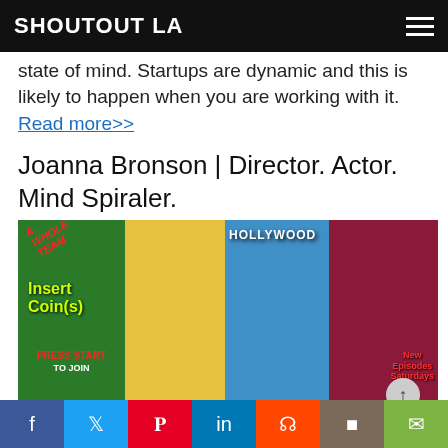SHOUTOUT LA
state of mind. Startups are dynamic and this is likely to happen when you are working with it.
Read more>>
Joanna Bronson | Director. Actor. Mind Spiraler.
[Figure (photo): Composite promotional image showing four panels: A. Whole Team (green video game panel), Pittsburgh Princess (woman in yellow), Hollywood Harvey (man with sunglasses), Double Tap Bronson (person with dark hair). New Episodes Saturdays text overlay.]
My ability to balance has been a giant pendulum